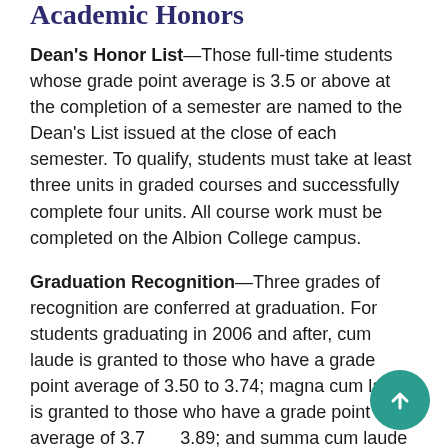Academic Honors
Dean's Honor List—Those full-time students whose grade point average is 3.5 or above at the completion of a semester are named to the Dean's List issued at the close of each semester. To qualify, students must take at least three units in graded courses and successfully complete four units. All course work must be completed on the Albion College campus.
Graduation Recognition—Three grades of recognition are conferred at graduation. For students graduating in 2006 and after, cum laude is granted to those who have a grade point average of 3.50 to 3.74; magna cum laude is granted to those who have a grade point average of 3.75 to 3.89; and summa cum laude is granted to those who have a grade point average of 3.90 or above.